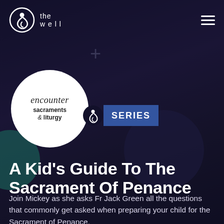[Figure (logo): The Well logo — spiral droplet icon with 'the well' text in white, top left header area]
[Figure (logo): Hamburger menu icon (three horizontal white lines), top right header area]
[Figure (illustration): White circle containing 'encounter sacraments & liturgy' text, with adjacent blue SERIES badge featuring the Well spiral icon]
A Kid's Guide To The Sacrament Of Penance
Join Mickey as she asks Fr Jack Green all the questions that commonly get asked when preparing your child for the Sacrament of Penance.